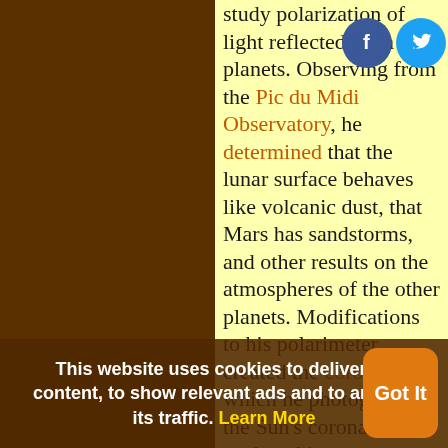study polarization of light reflected from planets. Observing from the Pic du Midi Observatory, he determined that the lunar surface behaves like volcanic dust, that Mars has sandstorms, and other results on the atmospheres of the other planets. Modifications to his polarimeter created the coronagraph, which he photographed the Sun's corona and its analyzed its spectrum. He
This website uses cookies to deliver its content, to show relevant ads and to analyze its traffic. Learn More